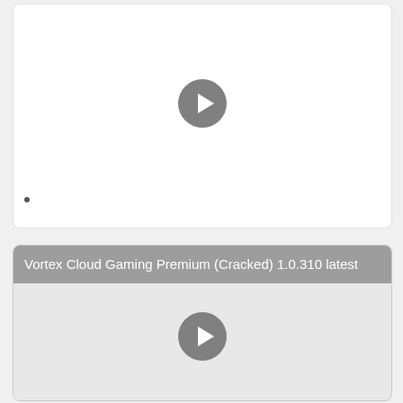[Figure (screenshot): Video thumbnail placeholder with play button (white background, gray circular play button in center)]
[Figure (screenshot): Video thumbnail placeholder with play button (light gray background, gray circular play button in center) with title overlay: Vortex Cloud Gaming Premium (Cracked) 1.0.310 latest]